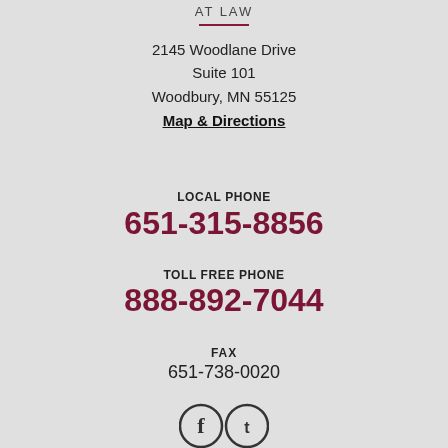AT LAW
2145 Woodlane Drive
Suite 101
Woodbury, MN 55125
Map & Directions
LOCAL PHONE
651-315-8856
TOLL FREE PHONE
888-892-7044
FAX
651-738-0020
[Figure (illustration): Social media icons (Facebook and Twitter/other) shown as circular icon buttons]